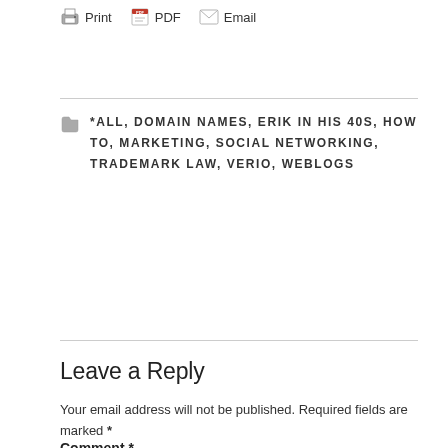Print  PDF  Email
*ALL, DOMAIN NAMES, ERIK IN HIS 40S, HOW TO, MARKETING, SOCIAL NETWORKING, TRADEMARK LAW, VERIO, WEBLOGS
Leave a Reply
Your email address will not be published. Required fields are marked *
Comment *